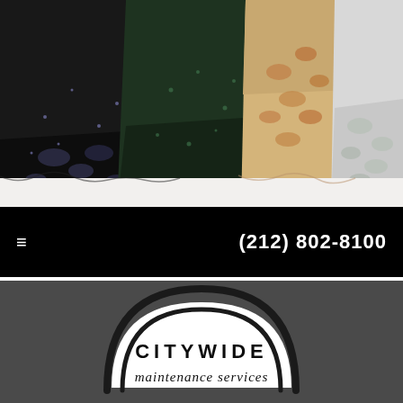[Figure (photo): Photo of decorative gowns/dresses displayed side by side: a black sequined lace gown, a dark green sequined gown, a nude/gold floral lace gown, and a white/silver lace gown, showing the lower portions of the dresses on a white floor.]
(212) 802-8100
[Figure (logo): Citywide Maintenance Services logo: white arch shape with bold uppercase CITYWIDE text and italic script 'maintenance services' below, on a dark gray background.]